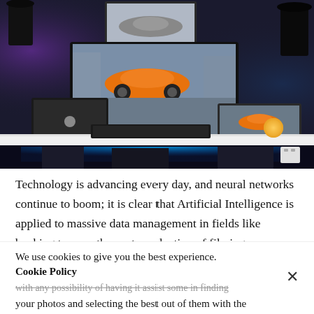[Figure (photo): A dark desk setup with multiple monitors displaying an orange sports car wallpaper, a MacBook, a glowing orange moon lamp, keyboard, and blue LED lighting under the desk]
Technology is advancing every day, and neural networks continue to boom; it is clear that Artificial Intelligence is applied to massive data management in fields like banking to even the post-production of filming.
We use cookies to give you the best experience.
Cookie Policy
with any possibility of having it assist some in finding your photos and selecting the best out of them with the